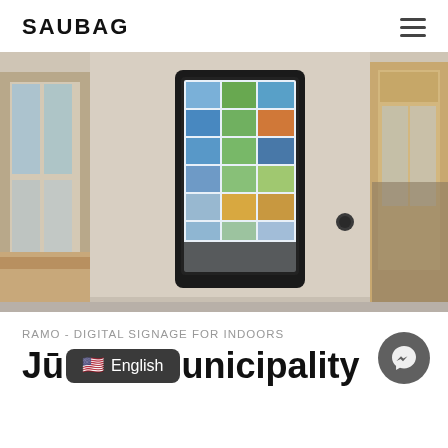SAUBAG
[Figure (photo): A black portrait-orientation digital signage display mounted on a beige/cream interior wall, showing a grid of colorful photo thumbnails on screen. Windows with wooden frames visible on left and right sides of the room.]
RAMO - DIGITAL SIGNAGE FOR INDOORS
Jū[English] unicipality